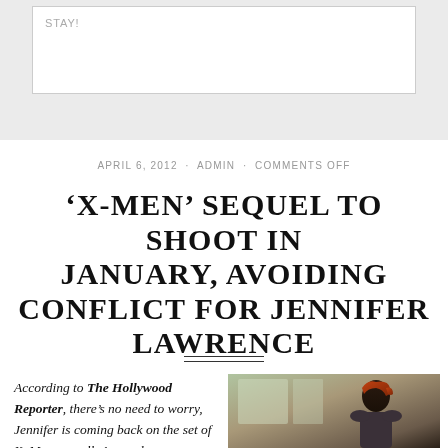STAY!
APRIL 6, 2012 · ADMIN · COMMENTS OFF
'X-MEN' SEQUEL TO SHOOT IN JANUARY, AVOIDING CONFLICT FOR JENNIFER LAWRENCE
According to The Hollywood Reporter, there's no need to worry, Jennifer is coming back on the set of X-Men as well. As you know...
[Figure (photo): Photo of Jennifer Lawrence in character as Mystique from X-Men, with blue skin makeup and red hair, in profile view]